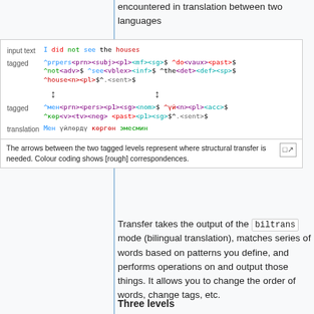encountered in translation between two languages
[Figure (illustration): Diagram showing input text 'I did not see the houses' with colour-coded tagged levels in English and Kyrgyz, with arrows indicating structural transfer points. Caption: The arrows between the two tagged levels represent where structural transfer is needed. Colour coding shows [rough] correspondences.]
Transfer takes the output of the biltrans mode (bilingual translation), matches series of words based on patterns you define, and performs operations on and output those things. It allows you to change the order of words, change tags, etc.
Three levels